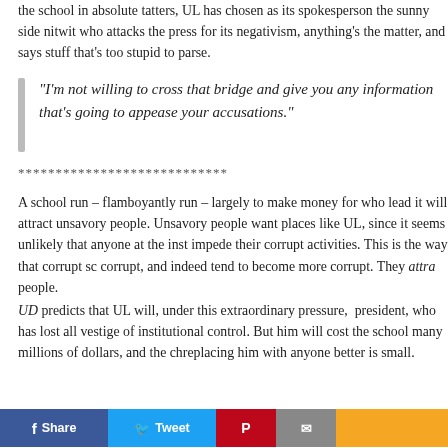the school in absolute tatters, UL has chosen as its spokesperson the sunny side nitwit who attacks the press for its negativism, denies anything's the matter, and says stuff that's too stupid to parse.
“I’m not willing to cross that bridge and give you any information that’s going to appease your accusations.”
****************************
A school run – flamboyantly run – largely to make money for those who lead it will attract unsavory people. Unsavory people want to be in places like UL, since it seems unlikely that anyone at the institution will impede their corrupt activities. This is the way that corrupt schools stay corrupt, and indeed tend to become more corrupt. They attract unsavory people.
UD predicts that UL will, under this extraordinary pressure, remove its president, who has lost all vestige of institutional control. But removing him will cost the school many millions of dollars, and the chances of replacing him with anyone better is small.
[Figure (other): Social sharing buttons: Share (Facebook), Tweet (Twitter), Pinterest, Email, and a yellow button]